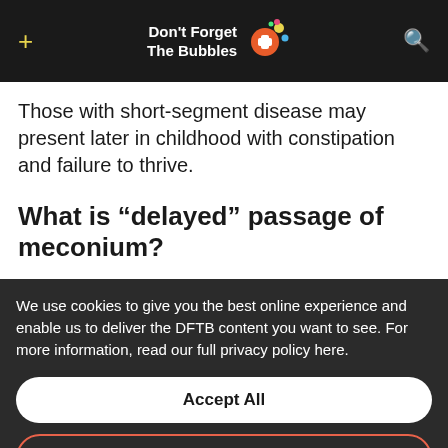Don't Forget The Bubbles
Those with short-segment disease may present later in childhood with constipation and failure to thrive.
What is “delayed” passage of meconium?
We use cookies to give you the best online experience and enable us to deliver the DFTB content you want to see. For more information, read our full privacy policy here.
Accept All
Dismiss